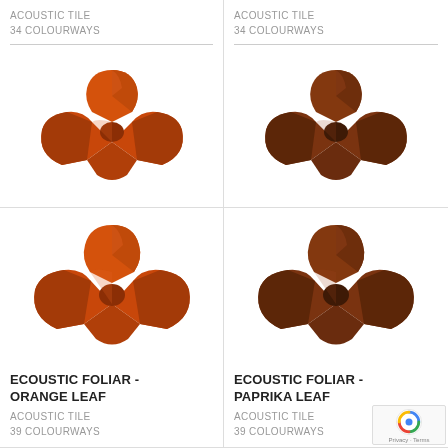ACOUSTIC TILE
34 COLOURWAYS
[Figure (photo): Ecoustic Foliar acoustic tile in orange-red color, tri-lobed star shape with faceted 3D surface]
ACOUSTIC TILE
34 COLOURWAYS
[Figure (photo): Ecoustic Foliar acoustic tile in paprika/dark reddish-brown color, tri-lobed star shape with faceted 3D surface]
ECOUSTIC FOLIAR - ORANGE LEAF
ACOUSTIC TILE
39 COLOURWAYS
ECOUSTIC FOLIAR - PAPRIKA LEAF
ACOUSTIC TILE
39 COLOURWAYS